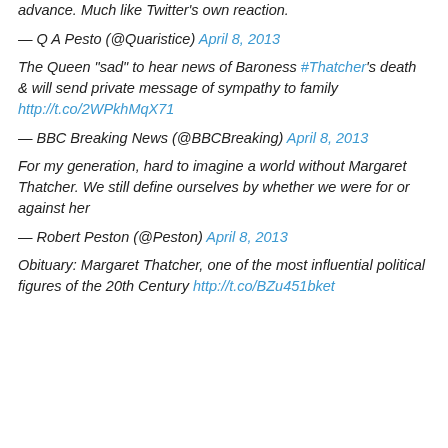advance. Much like Twitter's own reaction.
— Q A Pesto (@Quaristice) April 8, 2013
The Queen "sad" to hear news of Baroness #Thatcher's death & will send private message of sympathy to family http://t.co/2WPkhMqX71
— BBC Breaking News (@BBCBreaking) April 8, 2013
For my generation, hard to imagine a world without Margaret Thatcher. We still define ourselves by whether we were for or against her
— Robert Peston (@Peston) April 8, 2013
Obituary: Margaret Thatcher, one of the most influential political figures of the 20th Century http://t.co/BZu451bket